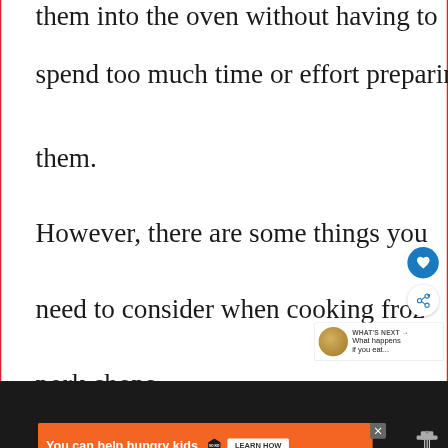them into the oven without having to spend too much time or effort preparing them. However, there are some things you need to consider when cooking frozen pork chops.
[Figure (screenshot): UI overlay buttons: heart/favorite button (blue circle) and share button (white circle with share icon), plus a 'What's Next' panel showing a food thumbnail and text 'What happens if you eat...']
[Figure (screenshot): Orange advertisement banner at bottom: 'You can help hungry kids.' with No Kid Hungry logo and 'LEARN HOW' button, with close X button]